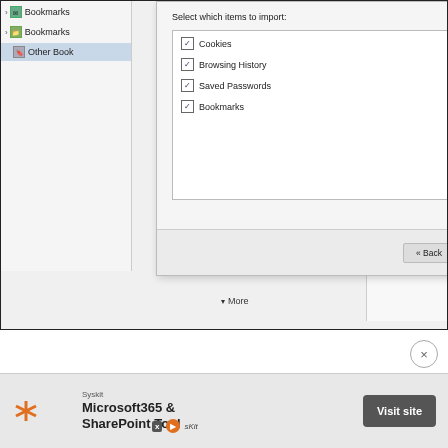[Figure (screenshot): A browser window showing a dialog box titled 'Select which items to import:' with checkboxes for Cookies, Browsing History, Saved Passwords, and Bookmarks (all checked). The dialog has Back, Next (highlighted with red border), and Cancel buttons. The Next button is highlighted with a red border. Partial browser sidebar shows Bookmarks and Other Bookmarks items. Right side shows partial web content with text fragments.]
[Figure (screenshot): Advertisement banner for Syskit Microsoft365 & SharePoint Tool with a Visit site button.]